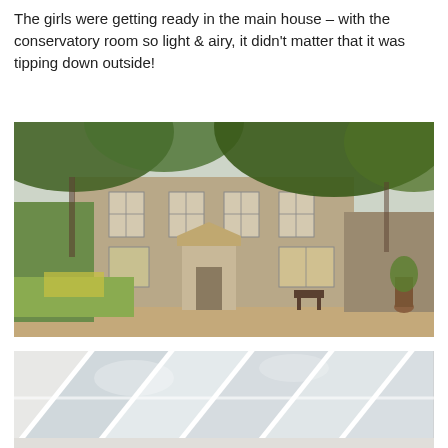The girls were getting ready in the main house – with the conservatory room so light & airy, it didn't matter that it was tipping down outside!
[Figure (photo): Exterior photograph of a large stone Georgian-style country house with multiple sash windows, a classical portico entrance, surrounded by lush green trees and garden planting, with a gravel driveway in the foreground.]
[Figure (photo): Interior photograph of a bright white conservatory room with large slanted glass roof panels letting in natural light, showing white walls and ceiling structure.]